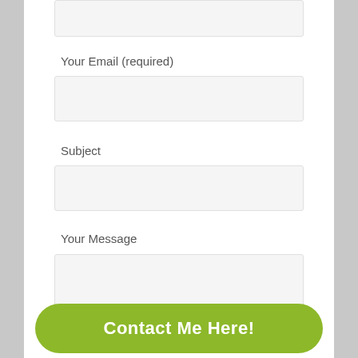Your Email (required)
Subject
Your Message
Contact Me Here!